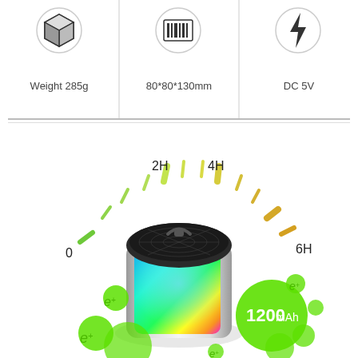[Figure (infographic): Product spec icons row: cube icon with Weight 285g, ruler/barcode icon with 80*80*130mm, lightning bolt icon with DC 5V]
[Figure (infographic): Bluetooth speaker product image with RGB lighting, surrounded by green energy bubbles (e+), a battery meter arc showing 0 to 6H with 2H and 4H markers, and 1200 mAh label in green circle]